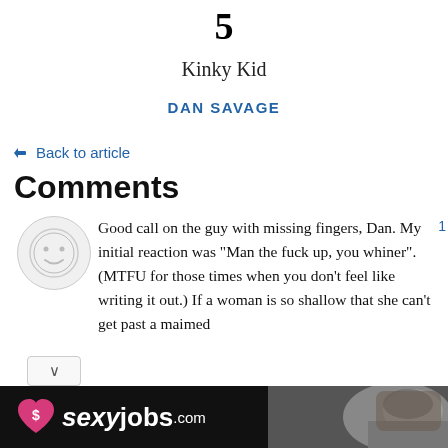5
Kinky Kid
DAN SAVAGE
← Back to article
Comments
Good call on the guy with missing fingers, Dan. My initial reaction was "Man the fuck up, you whiner". (MTFU for those times when you don't feel like writing it out.) If a woman is so shallow that she can't get past a maimed
[Figure (other): Advertisement banner for sexyjobs.com with pink heart logo and woman in mask on right side]